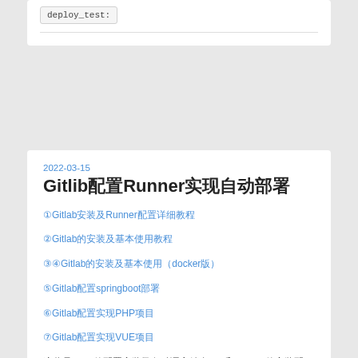deploy_test:
Gitlib配置Runner实现自动部署
2022-03-15
①Gitlab安装及Runner配置详细教程
②Gitlab的安装及基本使用教程
③④Gitlab的安装及基本使用（docker版）
⑤Gitlab配置springboot部署
⑥Gitlab配置实现PHP项目
⑦Gitlab配置实现VUE项目
这些是gitlab的配置安装及各种语言结合cicd和Runner的安装配置，runner的安装主要有以下几种方式